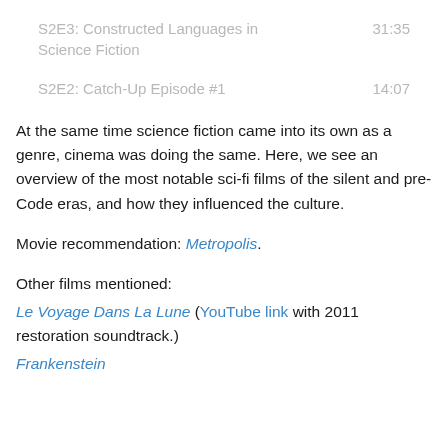S2E3: Constructed Languages in Science Fiction   31:35
S2E2: Catch-Up Episode #1   14:07
At the same time science fiction came into its own as a genre, cinema was doing the same. Here, we see an overview of the most notable sci-fi films of the silent and pre-Code eras, and how they influenced the culture.
Movie recommendation: Metropolis.
Other films mentioned:
Le Voyage Dans La Lune (YouTube link with 2011 restoration soundtrack.)
Frankenstein